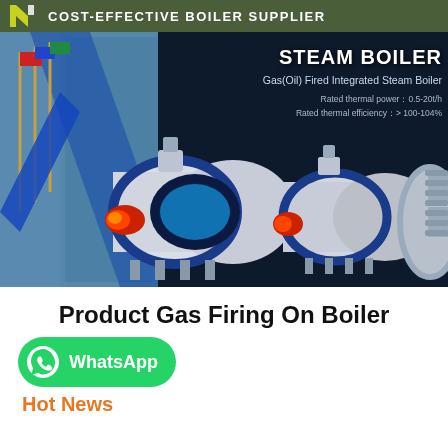COST-EFFECTIVE BOILER SUPPLIER
[Figure (photo): Banner image showing steam boilers (Gas/Oil Fired Integrated Steam Boiler) with a building in the background. Text overlay reads: STEAM BOILER, Gas(Oil) Fired Integrated Steam Boiler, Rated thermal power: 0.5-20t/h, Rated thermal efficiency: > 100-104%]
Product Gas Firing On Boiler
[Figure (logo): WhatsApp button with WhatsApp logo and the text 'WhatsApp']
Hot News